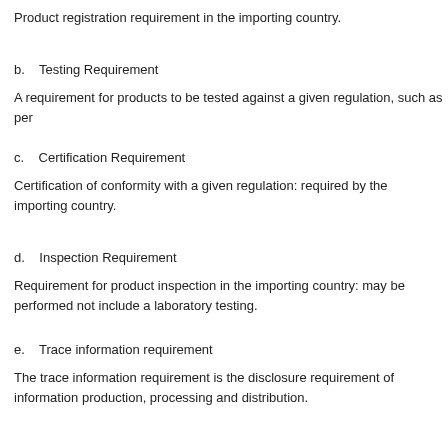Product registration requirement in the importing country.
b.    Testing Requirement
A requirement for products to be tested against a given regulation, such as per
c.    Certification Requirement
Certification of conformity with a given regulation: required by the importing country.
d.    Inspection Requirement
Requirement for product inspection in the importing country: may be performed not include a laboratory testing.
e.    Trace information requirement
The trace information requirement is the disclosure requirement of information production, processing and distribution.